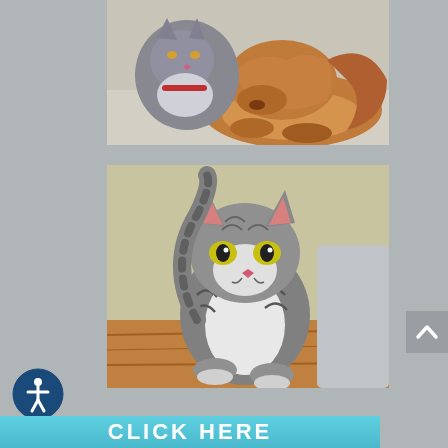[Figure (photo): Photo of a grey cat and a brown/golden dog together on a light floor, nuzzling or sniffing each other]
[Figure (photo): Photo of a tabby cat sitting upright on a wooden floor, looking directly at the camera with yellow-green eyes]
[Figure (illustration): Accessibility icon button — circular dark blue/teal button with white person/accessibility symbol]
[Figure (illustration): Scroll-to-top button — grey square button with upward chevron arrow]
CLICK HERE